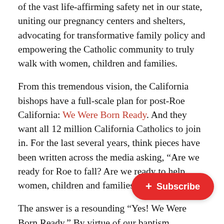of the vast life-affirming safety net in our state, uniting our pregnancy centers and shelters, advocating for transformative family policy and empowering the Catholic community to truly walk with women, children and families.
From this tremendous vision, the California bishops have a full-scale plan for post-Roe California: We Were Born Ready. And they want all 12 million California Catholics to join in. For the last several years, think pieces have been written across the media asking, “Are we ready for Roe to fall? Are we ready to help women, children and families?”
The answer is a resounding “Yes! We Were Born Ready.” By virtue of our baptism, we [are] priest, prophet and king. Now is the [time for the] Church to stand in the gap, to flood our parishes with